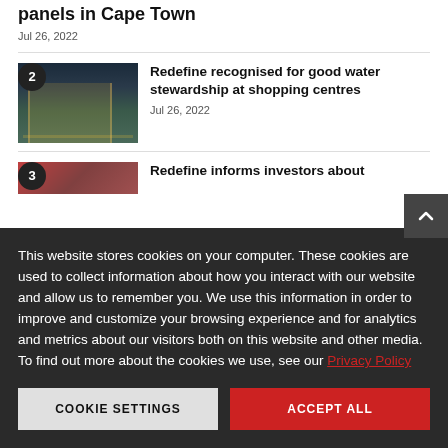panels in Cape Town
Jul 26, 2022
Redefine recognised for good water stewardship at shopping centres
Jul 26, 2022
This website stores cookies on your computer. These cookies are used to collect information about how you interact with our website and allow us to remember you. We use this information in order to improve and customize your browsing experience and for analytics and metrics about our visitors both on this website and other media. To find out more about the cookies we use, see our Privacy Policy
COOKIE SETTINGS
ACCEPT ALL